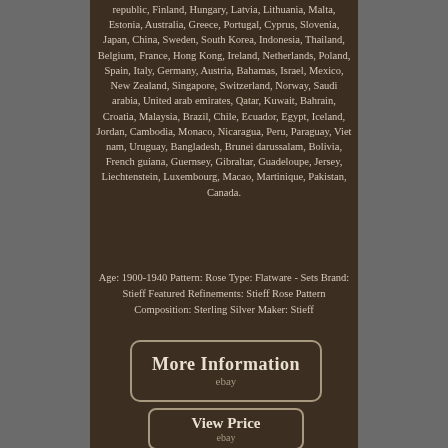republic, Finland, Hungary, Latvia, Lithuania, Malta, Estonia, Australia, Greece, Portugal, Cyprus, Slovenia, Japan, China, Sweden, South Korea, Indonesia, Thailand, Belgium, France, Hong Kong, Ireland, Netherlands, Poland, Spain, Italy, Germany, Austria, Bahamas, Israel, Mexico, New Zealand, Singapore, Switzerland, Norway, Saudi arabia, United arab emirates, Qatar, Kuwait, Bahrain, Croatia, Malaysia, Brazil, Chile, Ecuador, Egypt, Iceland, Jordan, Cambodia, Monaco, Nicaragua, Peru, Paraguay, Viet nam, Uruguay, Bangladesh, Brunei darussalam, Bolivia, French guiana, Guernsey, Gibraltar, Guadeloupe, Jersey, Liechtenstein, Luxembourg, Macao, Martinique, Pakistan, Canada.
Age: 1900-1940 Pattern: Rose Type: Flatware - Sets Brand: Stieff Featured Refinements: Stieff Rose Pattern Composition: Sterling Silver Maker: Stieff
[Figure (other): Button/link styled element with text 'More Information' and 'ebay' below it, dark brown background with rounded border]
[Figure (other): Button/link styled element with text 'View Price' and 'ebay' below it, dark brown background with rounded border]